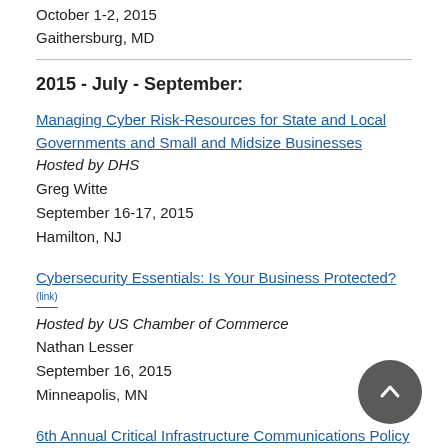October 1-2, 2015
Gaithersburg, MD
2015 - July - September:
Managing Cyber Risk-Resources for State and Local Governments and Small and Midsize Businesses
Hosted by DHS
Greg Witte
September 16-17, 2015
Hamilton, NJ
Cybersecurity Essentials: Is Your Business Protected?
Hosted by US Chamber of Commerce
Nathan Lesser
September 16, 2015
Minneapolis, MN
6th Annual Critical Infrastructure Communications Policy Summit: Cyber Security - From Policy to Implementation